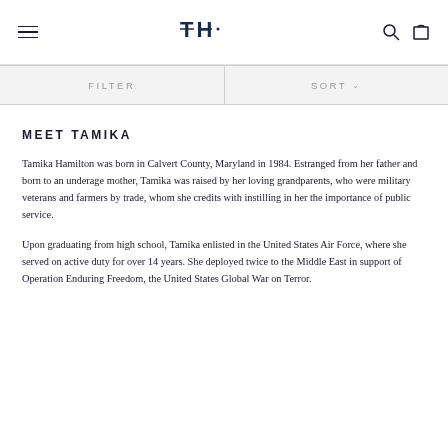TH [logo with hamburger menu, search icon, cart icon]
FILTER   SORT
MEET TAMIKA
Tamika Hamilton was born in Calvert County, Maryland in 1984. Estranged from her father and born to an underage mother, Tamika was raised by her loving grandparents, who were military veterans and farmers by trade, whom she credits with instilling in her the importance of public service.
Upon graduating from high school, Tamika enlisted in the United States Air Force, where she served on active duty for over 14 years. She deployed twice to the Middle East in support of Operation Enduring Freedom, the United States Global War on Terror.